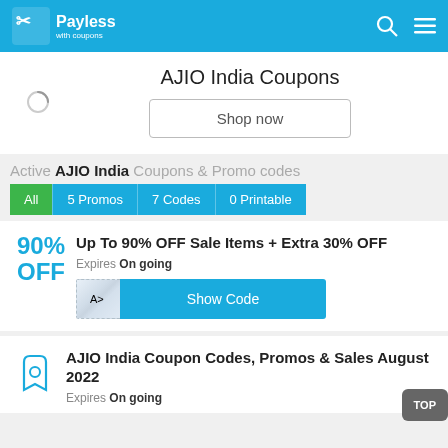Payless with coupons
AJIO India Coupons
Shop now
Active AJIO India Coupons & Promo codes
All | 5 Promos | 7 Codes | 0 Printable
90% OFF — Up To 90% OFF Sale Items + Extra 30% OFF. Expires On going. Show Code
AJIO India Coupon Codes, Promos & Sales August 2022. Expires On going